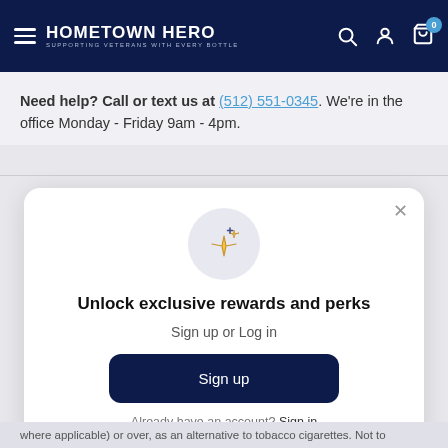HOMETOWN HERO — SUPPORTING VETERANS WITH EVERY BOTTLE
Need help? Call or text us at (512) 551-0345. We're in the office Monday - Friday 9am - 4pm.
[Figure (screenshot): Popup modal with sparkle icon, heading 'Unlock exclusive rewards and perks', subtext 'Sign up or Log in', a dark navy Sign up button, and 'Already have an account? Sign in' link.]
where applicable) or over, as an alternative to tobacco cigarettes. Not to